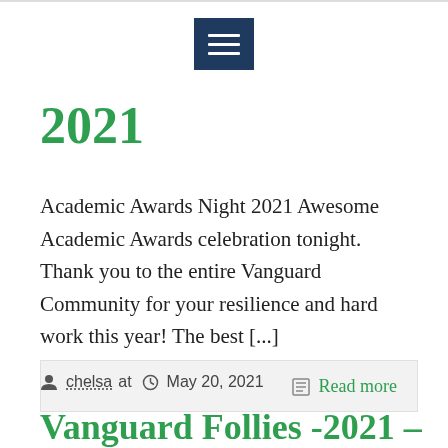[Figure (screenshot): Dark navy hamburger menu icon with three white horizontal lines on a square background]
2021
Academic Awards Night 2021 Awesome Academic Awards celebration tonight. Thank you to the entire Vanguard Community for your resilience and hard work this year! The best [...]
Read more
chelsa at  May 20, 2021
Vanguard Follies -2021 – Virtual